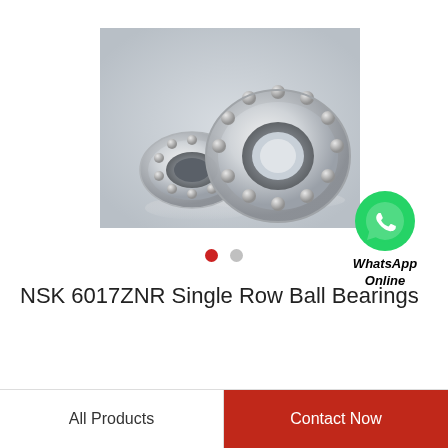[Figure (photo): Two NSK single row ball bearings photographed on a light gray background. One bearing is shown from a tilted front angle showing the ball race, the other from a slight top-front angle. Both are metallic silver/chrome finish.]
[Figure (logo): WhatsApp green circle icon with white phone handset, with text 'WhatsApp Online' below in bold italic]
NSK 6017ZNR Single Row Ball Bearings
All Products
Contact Now